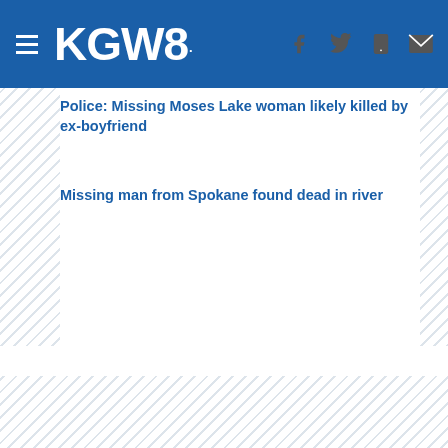[Figure (screenshot): KGW8 news website header with hamburger menu, KGW8 logo, and social/navigation icons (Facebook, Twitter, mobile, email)]
Police: Missing Moses Lake woman likely killed by ex-boyfriend
Missing man from Spokane found dead in river